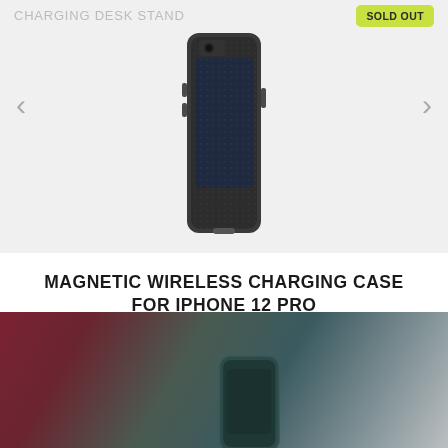CHARGING DESK STAND
SOLD OUT
[Figure (photo): Magnetic wireless charging case for iPhone 12 Pro shown in dark color, standing upright]
MAGNETIC WIRELESS CHARGING CASE FOR IPHONE 12 PRO
iPhone 12 Pro (XVIDA Basics line)
ADD  $15.00
[Figure (photo): Bottom section showing a dark teal phone case on a blurred background with red and teal tones]